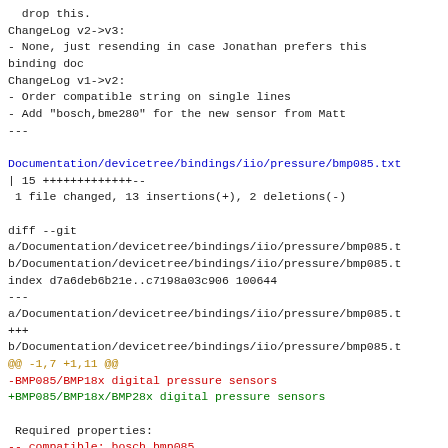drop this.
ChangeLog v2->v3:
- None, just resending in case Jonathan prefers this binding doc
ChangeLog v1->v2:
- Order compatible string on single lines
- Add "bosch,bme280" for the new sensor from Matt
---
Documentation/devicetree/bindings/iio/pressure/bmp085.txt
| 15 +++++++++++++--
 1 file changed, 13 insertions(+), 2 deletions(-)
diff --git
a/Documentation/devicetree/bindings/iio/pressure/bmp085.t
b/Documentation/devicetree/bindings/iio/pressure/bmp085.t
index d7a6deb6b21e..c7198a03c906 100644
---
a/Documentation/devicetree/bindings/iio/pressure/bmp085.t
+++
b/Documentation/devicetree/bindings/iio/pressure/bmp085.t
@@ -1,7 +1,11 @@
-BMP085/BMP18x digital pressure sensors
+BMP085/BMP18x/BMP28x digital pressure sensors
Required properties:
-- compatible: bosch,bmp085
+- compatible: must be one of:
+  "bosch,bmp085"
+  "bosch,bmp180"
+  "bosch,bmp280"